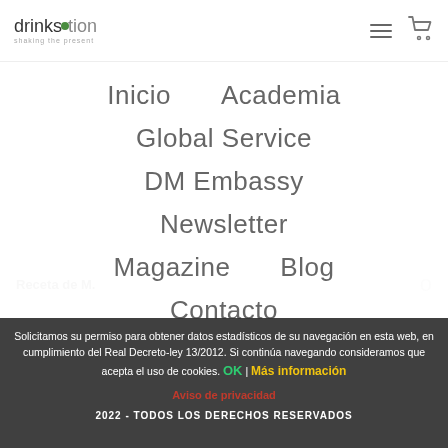drinksmotion shaking the present
Inicio
Academia
Global Service
DM Embassy
Newsletter
Magazine
Blog
Contacto
Receta de M.
Leer más
LOG IN
Solicitamos su permiso para obtener datos estadísticos de su navegación en esta web, en cumplimiento del Real Decreto-ley 13/2012. Si continúa navegando consideramos que acepta el uso de cookies. OK | Más información
Aviso de privacidad
2022 - TODOS LOS DERECHOS RESERVADOS